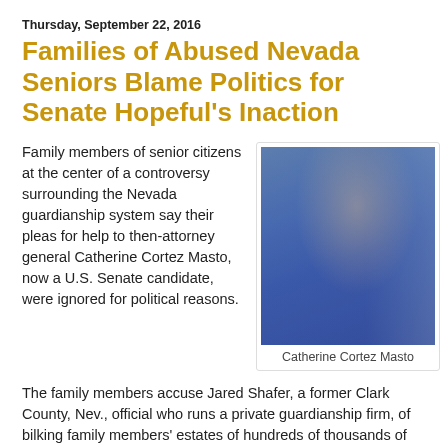Thursday, September 22, 2016
Families of Abused Nevada Seniors Blame Politics for Senate Hopeful’s Inaction
Family members of senior citizens at the center of a controversy surrounding the Nevada guardianship system say their pleas for help to then-attorney general Catherine Cortez Masto, now a U.S. Senate candidate, were ignored for political reasons.
[Figure (photo): Photo of Catherine Cortez Masto walking in a hallway wearing a blue suit]
Catherine Cortez Masto
The family members accuse Jared Shafer, a former Clark County, Nev., official who runs a private guardianship firm, of bilking family members’ estates of hundreds of thousands of dollars.